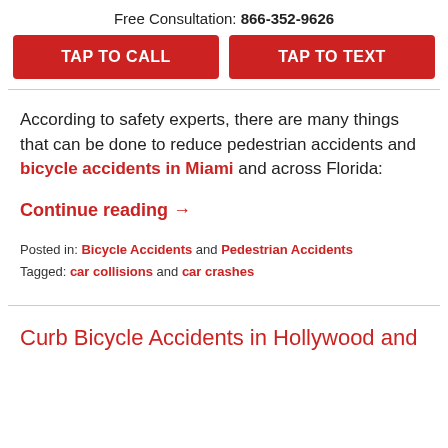Free Consultation: 866-352-9626
TAP TO CALL | TAP TO TEXT
According to safety experts, there are many things that can be done to reduce pedestrian accidents and bicycle accidents in Miami and across Florida:
Continue reading →
Posted in: Bicycle Accidents and Pedestrian Accidents
Tagged: car collisions and car crashes
Curb Bicycle Accidents in Hollywood and